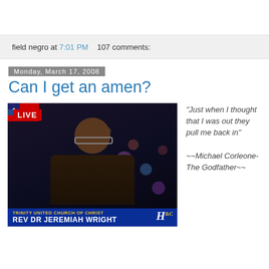field negro at 7:01 PM   107 comments:
Monday, March 17, 2008
Can I get an amen?
[Figure (photo): TV screenshot showing Rev Dr Jeremiah Wright on a live broadcast from Trinity United Church of Christ, with LIVE badge, lower-third chyron, and H&C network logo]
"Just when I thought that I was out they pull me back in"  ~~Michael Corleone- The Godfather~~